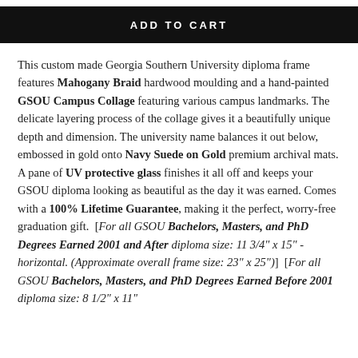ADD TO CART
This custom made Georgia Southern University diploma frame features Mahogany Braid hardwood moulding and a hand-painted GSOU Campus Collage featuring various campus landmarks. The delicate layering process of the collage gives it a beautifully unique depth and dimension. The university name balances it out below, embossed in gold onto Navy Suede on Gold premium archival mats. A pane of UV protective glass finishes it all off and keeps your GSOU diploma looking as beautiful as the day it was earned. Comes with a 100% Lifetime Guarantee, making it the perfect, worry-free graduation gift.  [For all GSOU Bachelors, Masters, and PhD Degrees Earned 2001 and After diploma size: 11 3/4" x 15" - horizontal. (Approximate overall frame size: 23" x 25")  [For all GSOU Bachelors, Masters, and PhD Degrees Earned Before 2001 diploma size: 8 1/2" x 11"